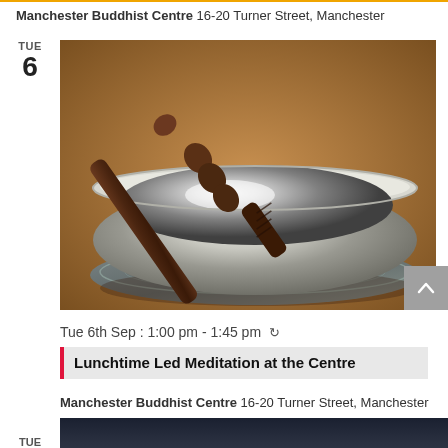Manchester Buddhist Centre 16-20 Turner Street, Manchester
[Figure (photo): Tibetan singing bowl with wooden mallet resting inside, sitting on a decorative cushion on a wooden surface]
Tue 6th Sep : 1:00 pm - 1:45 pm ↺
Lunchtime Led Meditation at the Centre
Manchester Buddhist Centre 16-20 Turner Street, Manchester